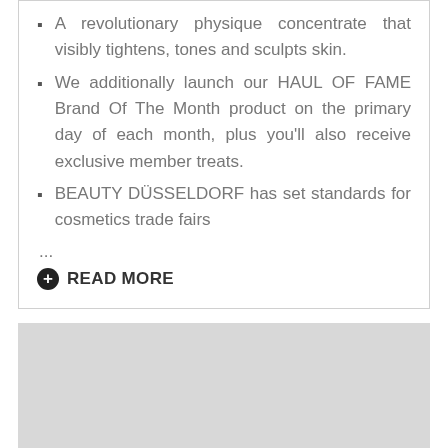A revolutionary physique concentrate that visibly tightens, tones and sculpts skin.
We additionally launch our HAUL OF FAME Brand Of The Month product on the primary day of each month, plus you'll also receive exclusive member treats.
BEAUTY DÜSSELDORF has set standards for cosmetics trade fairs
...
READ MORE
[Figure (other): Gray placeholder image rectangle]